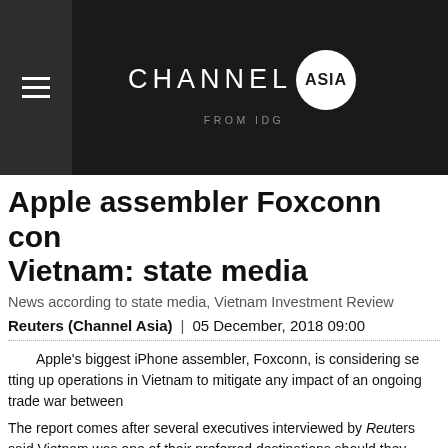CHANNEL ASIA FROM IDG
Apple assembler Foxconn considers Vietnam: state media
News according to state media, Vietnam Investment Review
Reuters (Channel Asia) | 05 December, 2018 09:00
Apple's biggest iPhone assembler, Foxconn, is considering setting up operations in Vietnam to mitigate any impact of an ongoing trade war between...
The report comes after several executives interviewed by Reuters said Vietnam was one of their preferred destinations should they need to shelter operations from U.S. tariffs, despite its inadequate infrastructure.
"Foxconn Group and the Hanoi People's Committee are working together to negate the impacts of the U.S.-China trade war," the Vietnam I...